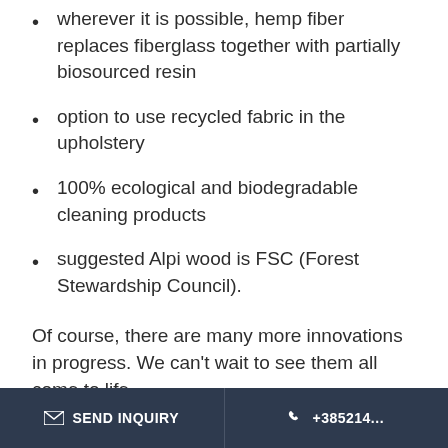wherever it is possible, hemp fiber replaces fiberglass together with partially biosourced resin
option to use recycled fabric in the upholstery
100% ecological and biodegradable cleaning products
suggested Alpi wood is FSC (Forest Stewardship Council).
Of course, there are many more innovations in progress. We can't wait to see them all come to life.
SEND INQUIRY   +385214...